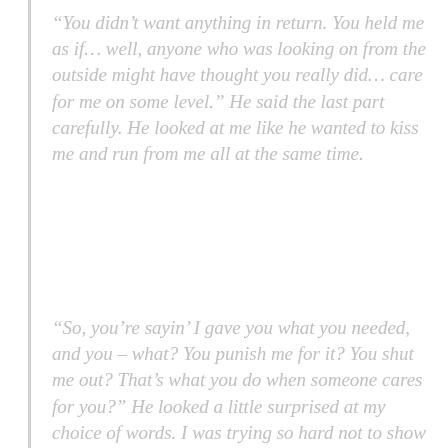“You didn’t want anything in return. You held me as if… well, anyone who was looking on from the outside might have thought you really did… care for me on some level.” He said the last part carefully. He looked at me like he wanted to kiss me and run from me all at the same time.
“So, you’re sayin’ I gave you what you needed, and you – what? You punish me for it? You shut me out? That’s what you do when someone cares for you?” He looked a little surprised at my choice of words. I was trying so hard not to show my hand, but it had to be evident that I was starting to have some sort